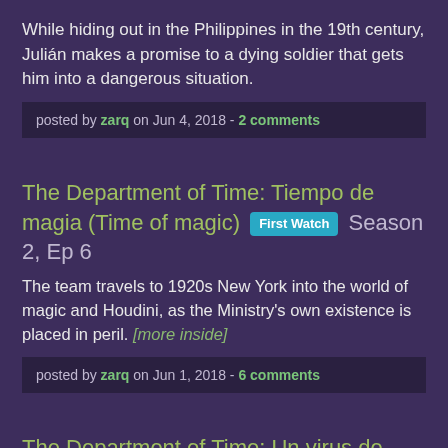While hiding out in the Philippines in the 19th century, Julián makes a promise to a dying soldier that gets him into a dangerous situation.
posted by zarq on Jun 4, 2018 - 2 comments
The Department of Time: Tiempo de magia (Time of magic) [First Watch] Season 2, Ep 6
The team travels to 1920s New York into the world of magic and Houdini, as the Ministry's own existence is placed in peril. [more inside]
posted by zarq on Jun 1, 2018 - 6 comments
The Department of Time: Un virus de otro tiempo (A Virus from Another Time) [First Watch] Season 2, Ep 5